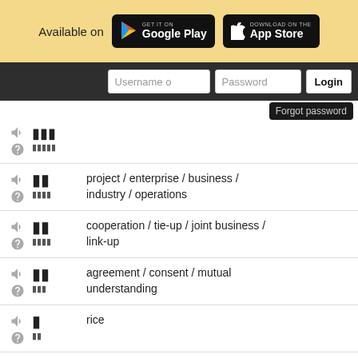[Figure (screenshot): Top banner with 'Available on' text and Google Play and App Store badges on a yellow/tan background]
[Figure (screenshot): Navigation bar with Username, Password input fields and Login button; Forgot password tooltip]
project / enterprise / business / industry / operations
cooperation / tie-up / joint business / link-up
agreement / consent / mutual understanding
rice
rice
both companies